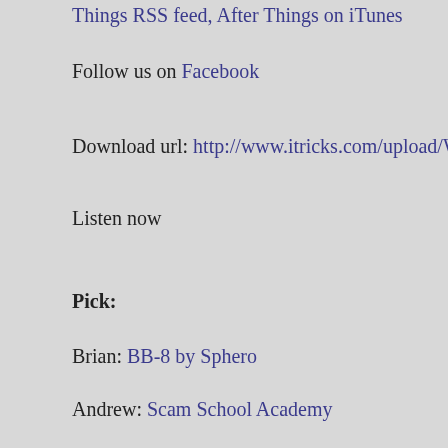Things RSS feed, After Things on iTunes
Follow us on Facebook
Download url: http://www.itricks.com/upload/WeirdThings091315.m
Listen now
Pick:
Brian: BB-8 by Sphero
Andrew: Scam School Academy
Tom: Seveneves
Posted in Podcast, Podcasts | Comments Off on Podcast: Feed t
After Things: Contender Coutndown
Wednesday, September 2nd, 2015
[Figure (photo): Dark/black thumbnail image]
After Things is the offic